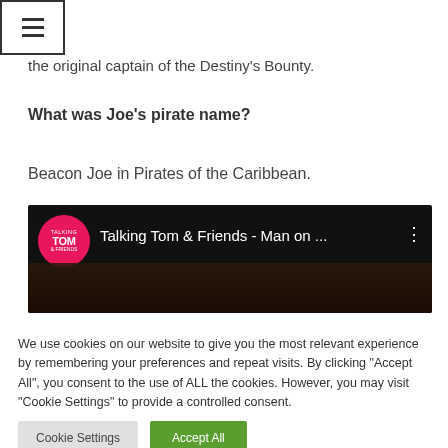≡ (hamburger menu icon)
the original captain of the Destiny's Bounty.
What was Joe's pirate name?
Beacon Joe in Pirates of the Caribbean.
[Figure (screenshot): YouTube video thumbnail showing Talking Tom & Friends - Man on ... with the Talking Tom & Friends logo (pink circle) on a dark background]
We use cookies on our website to give you the most relevant experience by remembering your preferences and repeat visits. By clicking "Accept All", you consent to the use of ALL the cookies. However, you may visit "Cookie Settings" to provide a controlled consent.
Cookie Settings    Accept All